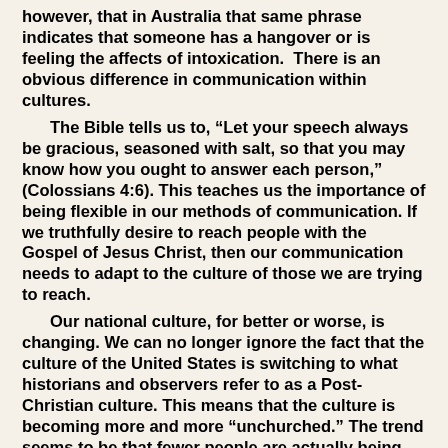however, that in Australia that same phrase indicates that someone has a hangover or is feeling the affects of intoxication.  There is an obvious difference in communication within cultures.
The Bible tells us to, “Let your speech always be gracious, seasoned with salt, so that you may know how you ought to answer each person,” (Colossians 4:6). This teaches us the importance of being flexible in our methods of communication. If we truthfully desire to reach people with the Gospel of Jesus Christ, then our communication needs to adapt to the culture of those we are trying to reach.
Our national culture, for better or worse, is changing. We can no longer ignore the fact that the culture of the United States is switching to what historians and observers refer to as a Post-Christian culture. This means that the culture is becoming more and more “unchurched.” The trend seems to be that fewer people are actually being raised in a religious atmosphere. The average American’s knowledge base of the Bible appears to be decreasing. How should this alter our communication? We cannot assume that